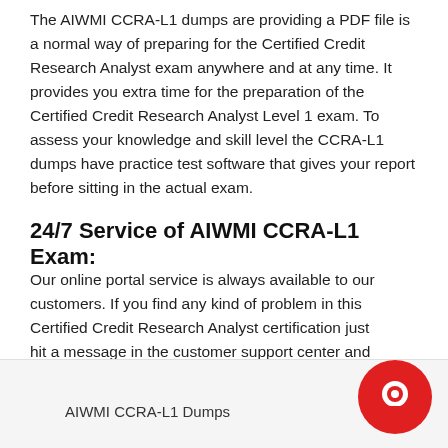The AIWMI CCRA-L1 dumps are providing a PDF file is a normal way of preparing for the Certified Credit Research Analyst exam anywhere and at any time. It provides you extra time for the preparation of the Certified Credit Research Analyst Level 1 exam. To assess your knowledge and skill level the CCRA-L1 dumps have practice test software that gives your report before sitting in the actual exam.
24/7 Service of AIWMI CCRA-L1 Exam:
Our online portal service is always available to our customers. If you find any kind of problem in this Certified Credit Research Analyst certification just hit a message in the customer support center and you will be answered in very little time of Certified Credit Research Analyst Level 1.
AIWMI CCRA-L1 Dumps
[Figure (other): Red circular chat/support icon in bottom right corner]